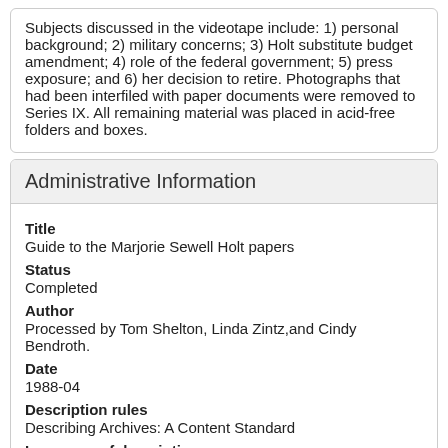Subjects discussed in the videotape include: 1) personal background; 2) military concerns; 3) Holt substitute budget amendment; 4) role of the federal government; 5) press exposure; and 6) her decision to retire. Photographs that had been interfiled with paper documents were removed to Series IX. All remaining material was placed in acid-free folders and boxes.
Administrative Information
Title
Guide to the Marjorie Sewell Holt papers
Status
Completed
Author
Processed by Tom Shelton, Linda Zintz,and Cindy Bendroth.
Date
1988-04
Description rules
Describing Archives: A Content Standard
Language of description